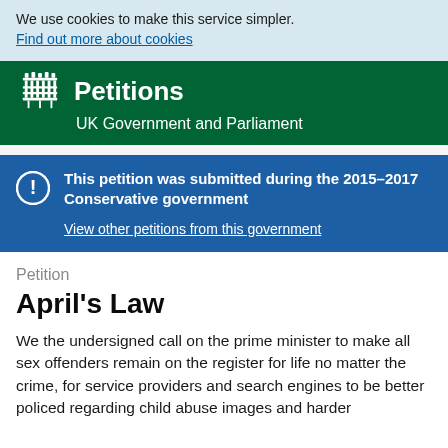We use cookies to make this service simpler. Find out more about cookies
Petitions – UK Government and Parliament
This petition was submitted during the 2015–2017 Conservative government
View other petitions from this government
Petition
April's Law
We the undersigned call on the prime minister to make all sex offenders remain on the register for life no matter the crime, for service providers and search engines to be better policed regarding child abuse images and harder